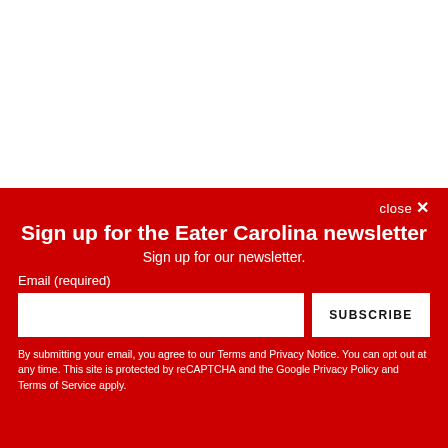[Figure (screenshot): White background area at the top of the page, representing content above the newsletter signup overlay.]
close ✕
Sign up for the Eater Carolina newsletter
Sign up for our newsletter.
Email (required)
SUBSCRIBE
By submitting your email, you agree to our Terms and Privacy Notice. You can opt out at any time. This site is protected by reCAPTCHA and the Google Privacy Policy and Terms of Service apply.